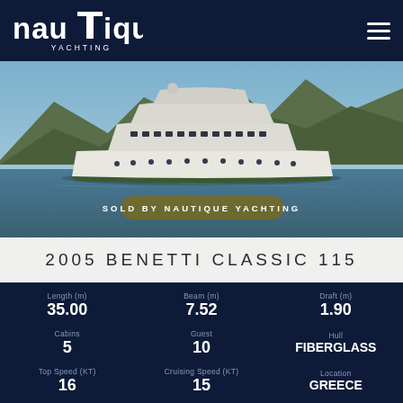[Figure (logo): Nautique Yachting logo in white on dark navy background, with hamburger menu icon top right]
[Figure (photo): Large white motor yacht (Benetti Classic 115) on calm water with rocky hillside in background. Overlay banner reads SOLD BY NAUTIQUE YACHTING]
2005 BENETTI CLASSIC 115
| Spec | Value |
| --- | --- |
| Length (m) | 35.00 |
| Beam (m) | 7.52 |
| Draft (m) | 1.90 |
| Cabins | 5 |
| Guest | 10 |
| Hull | FIBERGLASS |
| Top Speed (KT) | 16 |
| Cruising Speed (KT) | 15 |
| Location | GREECE |